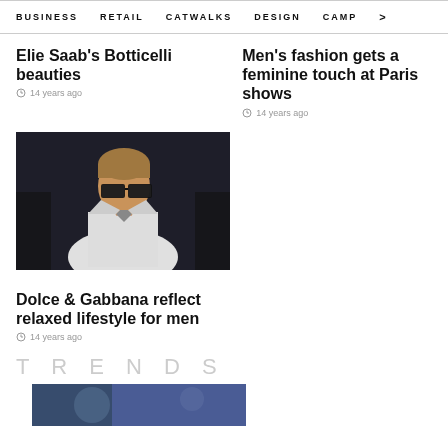BUSINESS   RETAIL   CATWALKS   DESIGN   CAMP >
Elie Saab's Botticelli beauties
14 years ago
Men's fashion gets a feminine touch at Paris shows
14 years ago
[Figure (photo): Male model with dark-rimmed glasses in white jacket, runway photo]
Dolce & Gabbana reflect relaxed lifestyle for men
14 years ago
TRENDS
[Figure (photo): Partial photo of model, cut off at bottom of page]